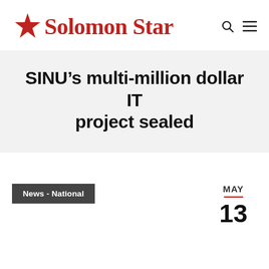Solomon Star
SINU’s multi-million dollar IT project sealed
News - National
MAY 13